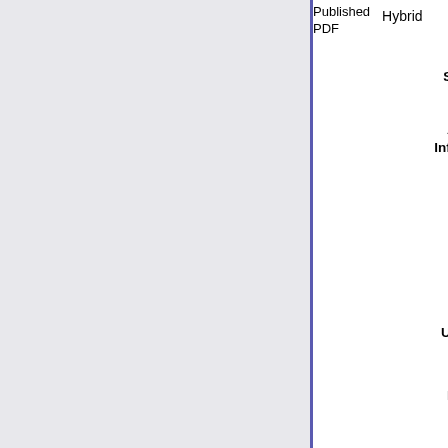Published PDF  Hybrid  50
Publisher Statement: Final publication is available from N http://dx.doi.org/[insert DOI]
DOAJ: No, journal is not listed in DOAJ
Additional Information: Between Nov. 2010 and March 201 free access and no embargo.
URL
URL: https://home.liebertpub.com/autho archiving  https://home.liebertpub.com/open-
Conflict: No
Refereed Source: Import
Ulrichsweb ID: 262115
Sherpa Romeo Id: 1481
Divisions: Unspecified
Article Processing Charge(s): Fee Currency Date